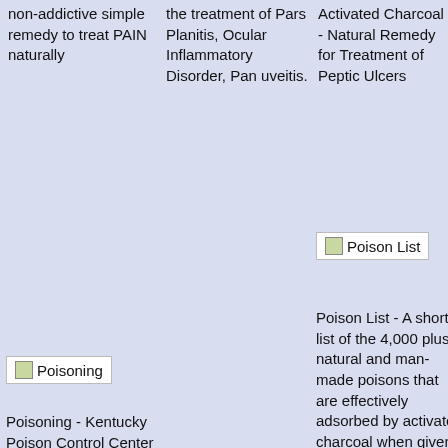non-addictive simple remedy to treat PAIN naturally
the treatment of Pars Planitis, Ocular Inflammatory Disorder, Pan uveitis.
Activated Charcoal - Natural Remedy for Treatment of Peptic Ulcers
Charcoal - a Simple Natural Remedy for Pink Eye
[Figure (other): Thumbnail image placeholder labeled Poisoning]
Poisoning - Kentucky Poison Control Center Promotes Activated Charcoal for Accidental Poisoning
[Figure (other): Thumbnail image placeholder labeled Poison List]
Poison List - A short list of the 4,000 plus natural and man-made poisons that are effectively adsorbed by activated charcoal when given
[Figure (other): Thumbnail image placeholder labeled Poison Ivy]
Poison Ivy
[Figure (other): Thumbnail image placeholder labeled Pouchitis]
Pouchitis - Activated Charcoal Helps Relieve Pouchitis